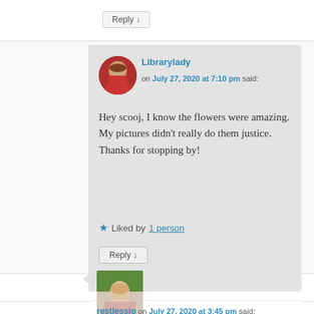Reply ↓
Librarylady on July 27, 2020 at 7:10 pm said:
Hey scooj, I know the flowers were amazing. My pictures didn't really do them justice. Thanks for stopping by!
★ Liked by 1 person
Reply ↓
[Figure (photo): Avatar photo of Librarylady - older woman in red top]
[Figure (photo): Avatar photo of restlessjo - older woman outdoors]
restlessjo on July 27, 2020 at 3:45 pm said: